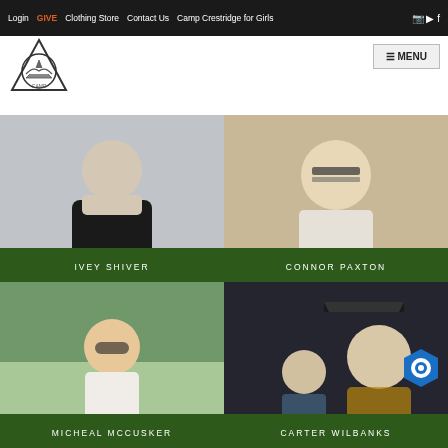Login | GIVE | Clothing Store | Contact Us | Camp Crestridge for Girls
[Figure (logo): Camp logo: triangle with mountain and canoe scene inside a circle]
[Figure (screenshot): MENU button top right]
[Figure (photo): Photo of Ivey Shiver, a young person in a black shirt smiling]
IVEY SHIVER
[Figure (photo): Photo of Connor Paxton, a young man with glasses smiling]
CONNOR PAXTON
[Figure (photo): Photo of Micheal McCusker, a young man with red hair and sunglasses outdoors]
MICHEAL MCCUSKER
[Figure (photo): Photo of Carter Wilbanks at graduation wearing cap and gown]
CARTER WILBANKS